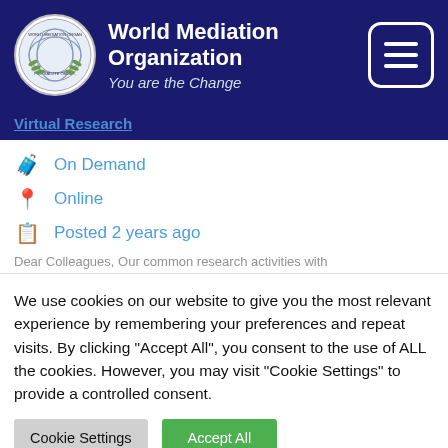[Figure (logo): World Mediation Organization circular seal logo with globe and laurel wreath]
World Mediation Organization
You are the Change
[Figure (other): Hamburger menu button with three horizontal bars]
Virtual Research
On Demand
Online
Posted 2 years ago
Dear Colleagues, Our common research activities with
We use cookies on our website to give you the most relevant experience by remembering your preferences and repeat visits. By clicking "Accept All", you consent to the use of ALL the cookies. However, you may visit "Cookie Settings" to provide a controlled consent.
Cookie Settings | Accept All